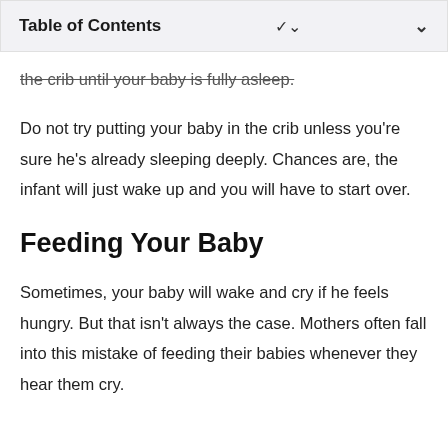Table of Contents
the crib until your baby is fully asleep.
Do not try putting your baby in the crib unless you're sure he's already sleeping deeply. Chances are, the infant will just wake up and you will have to start over.
Feeding Your Baby
Sometimes, your baby will wake and cry if he feels hungry. But that isn't always the case. Mothers often fall into this mistake of feeding their babies whenever they hear them cry.